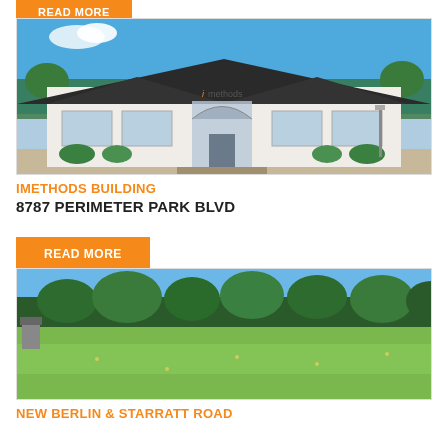[Figure (photo): Orange READ MORE button at top, partially visible]
[Figure (photo): Photo of iMethods Building exterior - a white commercial building with dark roof, arched entrance, and iMethods signage]
IMETHODS BUILDING
8787 PERIMETER PARK BLVD
[Figure (photo): Orange READ MORE button]
[Figure (photo): Photo of New Berlin & Starratt Road property - open grassy field with trees in background]
NEW BERLIN & STARRATT ROAD